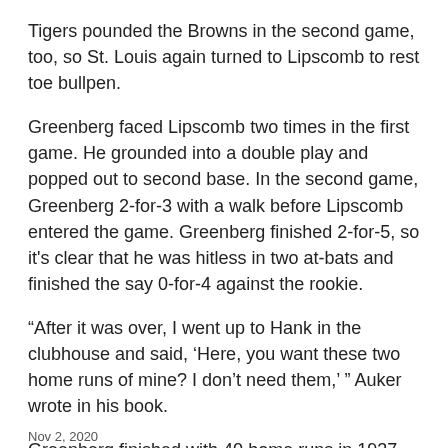Tigers pounded the Browns in the second game, too, so St. Louis again turned to Lipscomb to rest toe bullpen.
Greenberg faced Lipscomb two times in the first game. He grounded into a double play and popped out to second base. In the second game, Greenberg 2-for-3 with a walk before Lipscomb entered the game. Greenberg finished 2-for-5, so it's clear that he was hitless in two at-bats and finished the say 0-for-4 against the rookie.
“After it was over, I went up to Hank in the clubhouse and said, ‘Here, you want these two home runs of mine? I don’t need them,’ ” Auker wrote in his book.
Greenberg finished with 40 home runs in 1937. Auker never hit another one for Detroit.
Nov 2, 2020